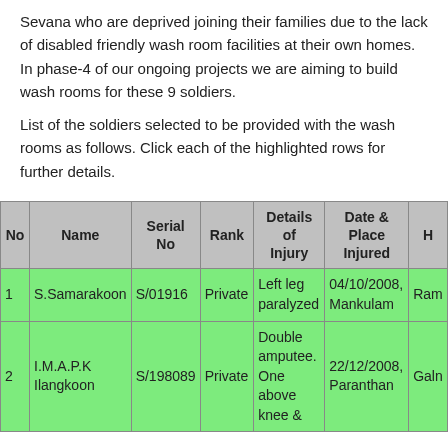Sevana who are deprived joining their families due to the lack of disabled friendly wash room facilities at their own homes. In phase-4 of our ongoing projects we are aiming to build wash rooms for these 9 soldiers.
List of the soldiers selected to be provided with the wash rooms as follows. Click each of the highlighted rows for further details.
| No | Name | Serial No | Rank | Details of Injury | Date & Place Injured | H |
| --- | --- | --- | --- | --- | --- | --- |
| 1 | S.Samarakoon | S/01916 | Private | Left leg paralyzed | 04/10/2008, Mankulam | Ram |
| 2 | I.M.A.P.K Ilangkoon | S/198089 | Private | Double amputee. One above knee & | 22/12/2008, Paranthan | Galn |